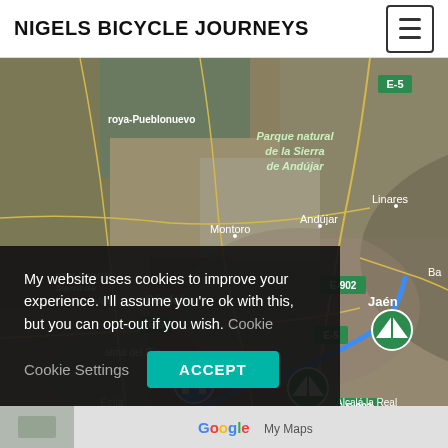NIGELS BICYCLE JOURNEYS
[Figure (map): Satellite map showing southern Spain including cities Córdoba, Jaén, Andújar, Montoro, Écija, Alcalá la Real, Granada, Nerja, and regions Parque natural de la Sierra de Andújar and Parque Natural Sierra de Hornachuelos. Blue route line with markers (home icon and tent/campsite icons) overlaid on the map. Road labels E-5, E-902 visible.]
My website uses cookies to improve your experience. I'll assume you're ok with this, but you can opt-out if you wish. Cookie Settings ACCEPT